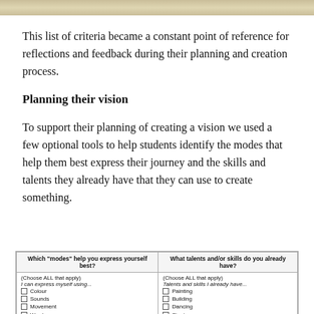This list of criteria became a constant point of reference for reflections and feedback during their planning and creation process.
Planning their vision
To support their planning of creating a vision we used a few optional tools to help students identify the modes that help them best express their journey and the skills and talents they already have that they can use to create something.
| Which "modes" help you express yourself best? | What talents and/or skills do you already have? |
| --- | --- |
| (Choose ALL that apply)

I can express myself using...
□ Colour
□ Sounds
□ Movement
□ Words
□ Symbols | (Choose ALL that apply)

Talents and skills I already have...
□ Painting
□ Building
□ Dancing
□ Singing
□ Song writing
□ Digital media |